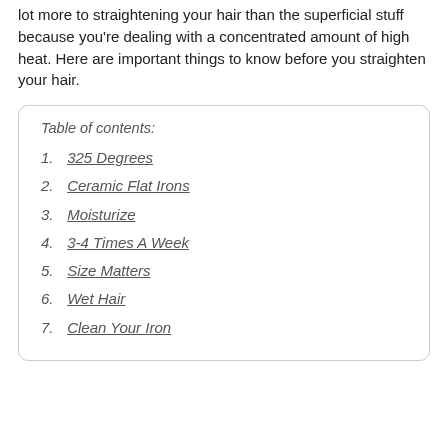lot more to straightening your hair than the superficial stuff because you're dealing with a concentrated amount of high heat. Here are important things to know before you straighten your hair.
Table of contents:
1. 325 Degrees
2. Ceramic Flat Irons
3. Moisturize
4. 3-4 Times A Week
5. Size Matters
6. Wet Hair
7. Clean Your Iron